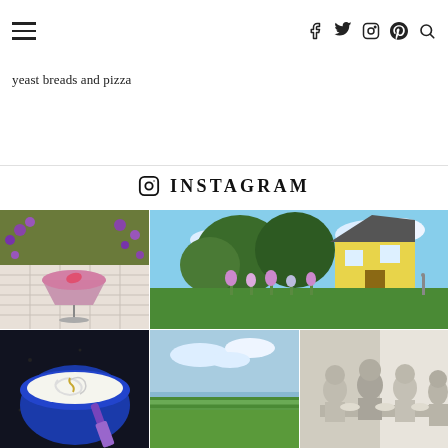Navigation header with hamburger menu and social icons (facebook, twitter, instagram, pinterest, search)
yeast breads and pizza
INSTAGRAM
[Figure (photo): Instagram photo grid with 6 images: top-left pink cocktail with purple flowers, top-center/right garden with yellow house, bottom-left blue bowl with cream, bottom-center green field landscape, bottom-right black and white photo of people dining]
[Figure (photo): Pink cocktail in a coupe glass surrounded by purple lobelia flowers on a white surface]
[Figure (photo): Garden landscape with yellow house, green trees, irises and purple flowers, blue sky]
[Figure (photo): Blue bowl with whipped cream or ricotta, purple utensil, dark background]
[Figure (photo): Green field/marsh landscape under blue sky]
[Figure (photo): Black and white vintage photo of a group of people sitting at a dining table]